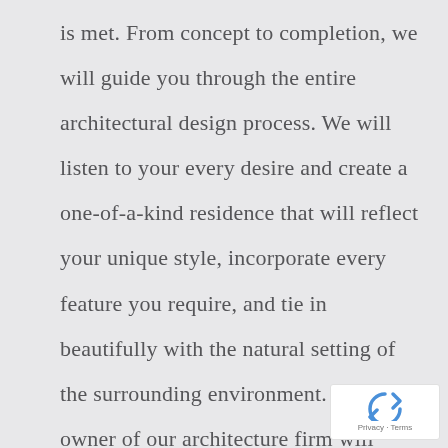is met. From concept to completion, we will guide you through the entire architectural design process. We will listen to your every desire and create a one-of-a-kind residence that will reflect your unique style, incorporate every feature you require, and tie in beautifully with the natural setting of the surrounding environment. The owner of our architecture firm will
[Figure (logo): Google reCAPTCHA badge with blue recycling-arrow logo and 'Privacy · Terms' text below]